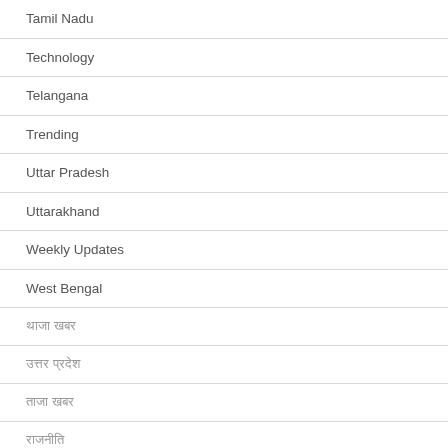Tamil Nadu
Technology
Telangana
Trending
Uttar Pradesh
Uttarakhand
Weekly Updates
West Bengal
□□□□□ □□□
□□□□□□□□□ □□□□□
□□□□□ □□□
□□□□□
□□□□□□ □□□□□